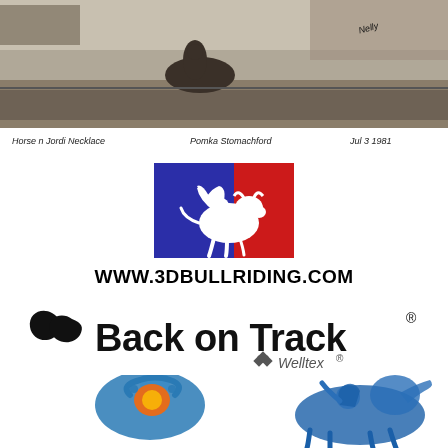[Figure (photo): Black and white photograph of a bull riding event at Pomona Stomachford, dated July 3, 1981. Handwritten caption at the bottom reads 'Horse n Jordi Necklace  Pomka Stomachford  Jul 3 1981'. Signed photograph.]
[Figure (logo): 3D Bull Riding logo: blue and red rectangle with white silhouette of a bull rider on a bucking bull, resembling a sports league logo style.]
WWW.3DBULLRIDING.COM
[Figure (logo): Back on Track logo with stylized black leaf/wave shapes on left, bold text 'Back on Track' with registered trademark symbol, and 'Welltex' with registered trademark below in smaller text.]
[Figure (illustration): Medical/anatomical illustration showing two human figures with highlighted injury areas - left figure showing neck/back pain area in orange/red, right figure partially visible showing a horse rider silhouette in blue tones.]